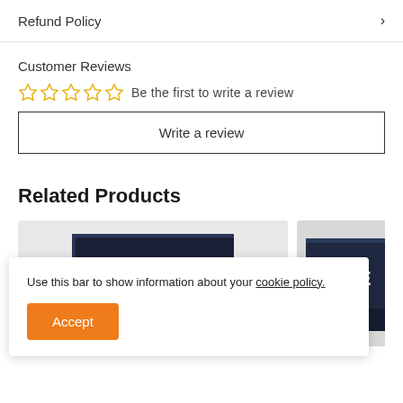Refund Policy
Customer Reviews
Be the first to write a review
Write a review
Related Products
[Figure (photo): Product image showing Bleu de Chanel perfume box in dark navy packaging]
[Figure (photo): Partial product image showing another perfume box with GE text visible]
Use this bar to show information about your cookie policy.
Accept